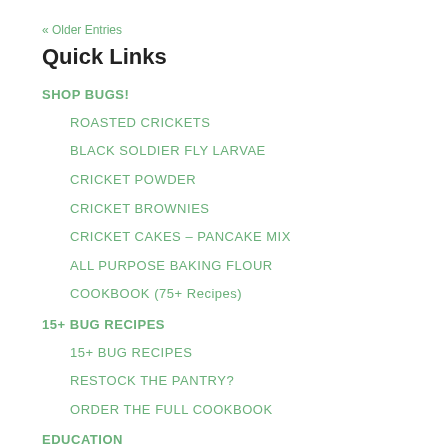« Older Entries
Quick Links
SHOP BUGS!
ROASTED CRICKETS
BLACK SOLDIER FLY LARVAE
CRICKET POWDER
CRICKET BROWNIES
CRICKET CAKES – PANCAKE MIX
ALL PURPOSE BAKING FLOUR
COOKBOOK (75+ Recipes)
15+ BUG RECIPES
15+ BUG RECIPES
RESTOCK THE PANTRY?
ORDER THE FULL COOKBOOK
EDUCATION